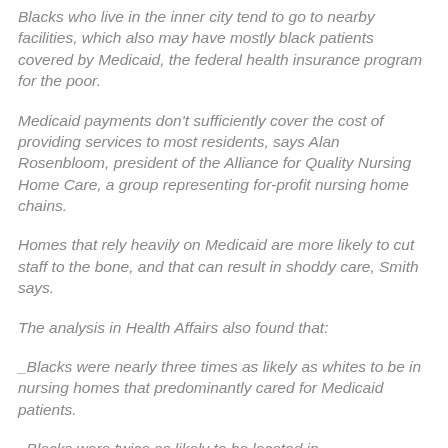Blacks who live in the inner city tend to go to nearby facilities, which also may have mostly black patients covered by Medicaid, the federal health insurance program for the poor.
Medicaid payments don't sufficiently cover the cost of providing services to most residents, says Alan Rosenbloom, president of the Alliance for Quality Nursing Home Care, a group representing for-profit nursing home chains.
Homes that rely heavily on Medicaid are more likely to cut staff to the bone, and that can result in shoddy care, Smith says.
The analysis in Health Affairs also found that:
_Blacks were nearly three times as likely as whites to be in nursing homes that predominantly cared for Medicaid patients.
_Blacks were twice as likely to be located in